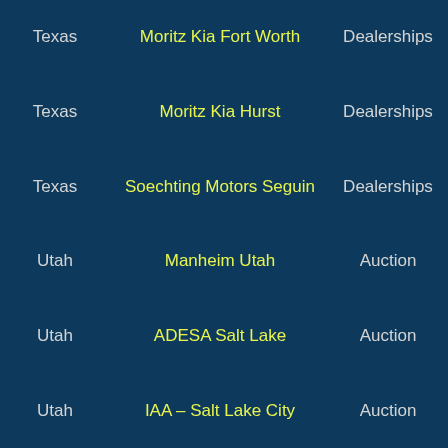| State | Name | Type | Link |
| --- | --- | --- | --- |
| Texas | Moritz Kia Fort Worth | Dealerships | Go to Map |
| Texas | Moritz Kia Hurst | Dealerships | Go to Map |
| Texas | Soechting Motors Seguin | Dealerships | Go to Map |
| Utah | Manheim Utah | Auction | Go to Map |
| Utah | ADESA Salt Lake | Auction | Go to Map |
| Utah | IAA – Salt Lake City | Auction | Go to Map |